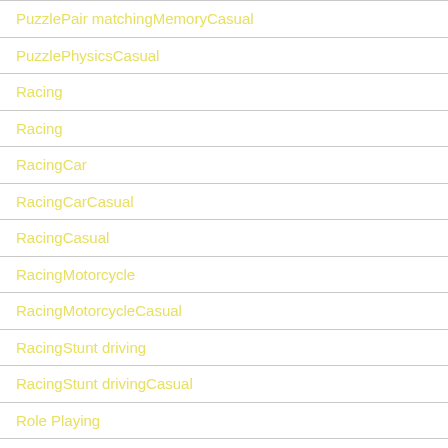PuzzlePair matchingMemoryCasual
PuzzlePhysicsCasual
Racing
Racing
RacingCar
RacingCarCasual
RacingCasual
RacingMotorcycle
RacingMotorcycleCasual
RacingStunt driving
RacingStunt drivingCasual
Role Playing